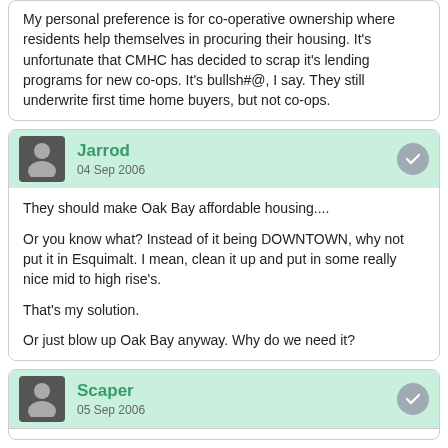My personal preference is for co-operative ownership where residents help themselves in procuring their housing. It's unfortunate that CMHC has decided to scrap it's lending programs for new co-ops. It's bullsh#@, I say. They still underwrite first time home buyers, but not co-ops.
Jarrod
04 Sep 2006
They should make Oak Bay affordable housing....

Or you know what? Instead of it being DOWNTOWN, why not put it in Esquimalt. I mean, clean it up and put in some really nice mid to high rise's.

That's my solution.

Or just blow up Oak Bay anyway. Why do we need it?
Scaper
05 Sep 2006